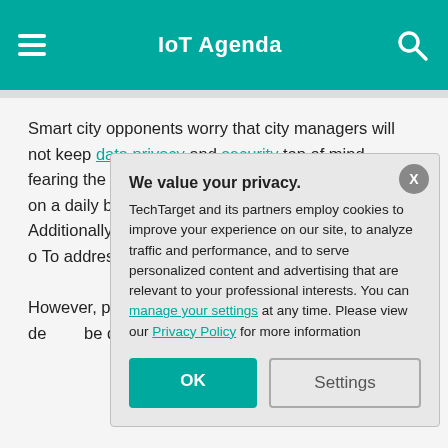IoT Agenda
Smart city opponents worry that city managers will not keep data privacy and security top of mind, fearing the exposure of the data that citizens produce on a daily basis to the risk of hacking or misuse. Additionally, the presence of sensors … as an invasion of … To address this, … anonymized and … information.

However, perhaps … face is the problem … millions of IoT de… be defunct witho… city itself would b…
We value your privacy. TechTarget and its partners employ cookies to improve your experience on our site, to analyze traffic and performance, and to serve personalized content and advertising that are relevant to your professional interests. You can manage your settings at any time. Please view our Privacy Policy for more information